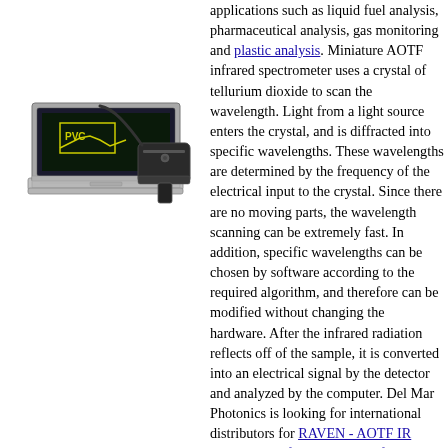[Figure (photo): Photo of a laptop computer displaying a spectral curve labeled 'PVC' on its screen, alongside a handheld AOTF infrared spectrometer probe.]
applications such as liquid fuel analysis, pharmaceutical analysis, gas monitoring and plastic analysis. Miniature AOTF infrared spectrometer uses a crystal of tellurium dioxide to scan the wavelength. Light from a light source enters the crystal, and is diffracted into specific wavelengths. These wavelengths are determined by the frequency of the electrical input to the crystal. Since there are no moving parts, the wavelength scanning can be extremely fast. In addition, specific wavelengths can be chosen by software according to the required algorithm, and therefore can be modified without changing the hardware. After the infrared radiation reflects off of the sample, it is converted into an electrical signal by the detector and analyzed by the computer. Del Mar Photonics is looking for international distributors for RAVEN - AOTF IR spectrometer for plastic identification and for variety of scientific and industrial collaborations to explore futher commercial potential of AOTF technology.
New: AOTF spectrometer to measure lactose, fat and proteins in milk